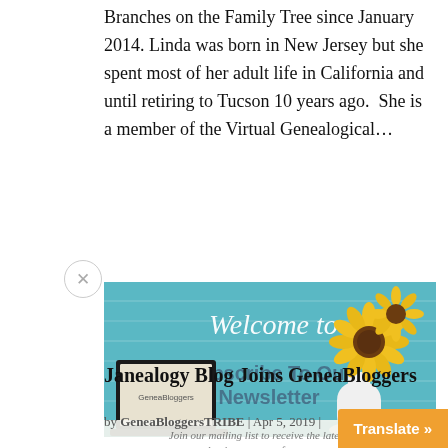Branches on the Family Tree since January 2014. Linda was born in New Jersey but she spent most of her adult life in California and until retiring to Tucson 10 years ago.  She is a member of the Virtual Genealogical...
[Figure (photo): A 'Welcome to' banner image with a teal wooden plank background, a white vase with sunflowers on the right, a laptop with GeneaBloggers logo on the left, and overlaid text reading 'Subscribe To Our Newsletter' and 'Join our mailing list to receive the latest news and unique content from our team.']
Janealogy Blog Joins GeneaBloggers
by GeneaBloggersTRIBE | Apr 5, 2019 |